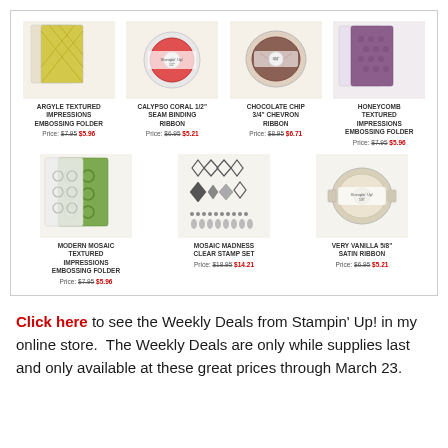[Figure (photo): Grid of 7 craft products: Argyle Textured Impressions Embossing Folder, Calypso Coral 1/2" Seam Binding Ribbon, Chocolate Chip 3/4" Chevron Ribbon, Honeycomb Textured Impressions Embossing Folder, Modern Mosaic Textured Impressions Embossing Folder, Mosaic Madness Clear Stamp Set, Very Vanilla 5/8" Satin Ribbon]
Click here to see the Weekly Deals from Stampin’ Up! in my online store.  The Weekly Deals are only while supplies last and only available at these great prices through March 23.